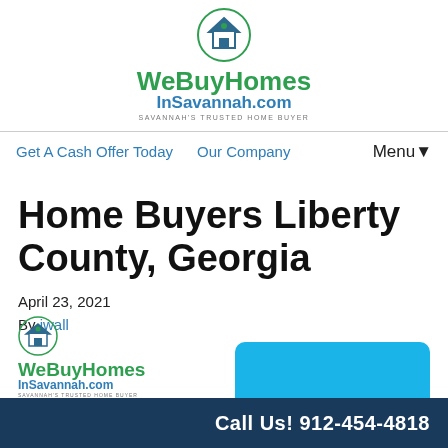[Figure (logo): WeBuyHomesInSavannah.com logo with house icon in circle, green and blue text, tagline SAVANNAH'S TRUSTED HOME BUYER]
Get A Cash Offer Today   Our Company   Menu▼
Home Buyers Liberty County, Georgia
April 23, 2021
By iwall
[Figure (logo): WeBuyHomesInSavannah.com logo repeated at bottom left with house icon, green and blue text]
Call Us! 912-454-4818